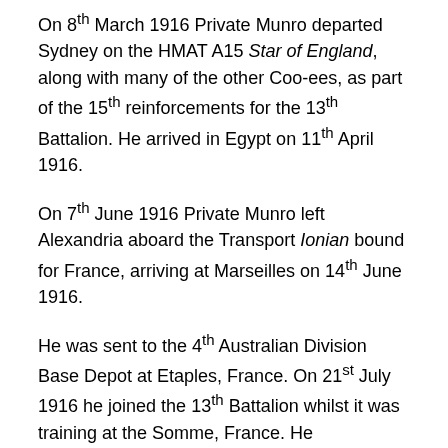On 8th March 1916 Private Munro departed Sydney on the HMAT A15 Star of England, along with many of the other Coo-ees, as part of the 15th reinforcements for the 13th Battalion. He arrived in Egypt on 11th April 1916.
On 7th June 1916 Private Munro left Alexandria aboard the Transport Ionian bound for France, arriving at Marseilles on 14th June 1916.
He was sent to the 4th Australian Division Base Depot at Etaples, France. On 21st July 1916 he joined the 13th Battalion whilst it was training at the Somme, France. He participated in the 13th Battalion's first major offensive action in France at Pozieres in August 1916.
On 30th August 1916 Private Munro was with the 13th Battalion when it was in action at Pozieres, France. On this day Private Munro was reported Missing In Action.